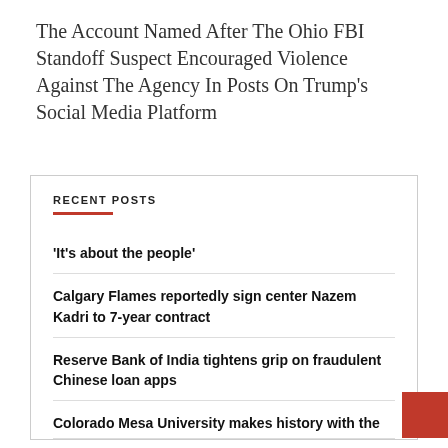The Account Named After The Ohio FBI Standoff Suspect Encouraged Violence Against The Agency In Posts On Trump’s Social Media Platform
RECENT POSTS
‘It’s about the people’
Calgary Flames reportedly sign center Nazem Kadri to 7-year contract
Reserve Bank of India tightens grip on fraudulent Chinese loan apps
Colorado Mesa University makes history with the